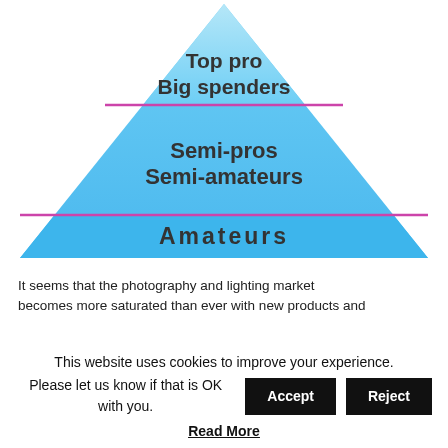[Figure (infographic): Pyramid diagram divided into three tiers labeled from top to bottom: 'Top pro / Big spenders' (small top section with lighter blue), 'Semi-pros / Semi-amateurs' (middle section), and 'Amateurs' (large bottom section, brighter blue). Pink horizontal lines separate the tiers.]
It seems that the photography and lighting market becomes more saturated than ever with new products and
This website uses cookies to improve your experience. Please let us know if that is OK with you.
Read More